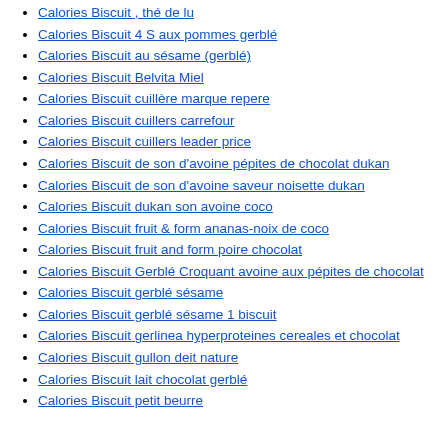Calories Biscuit , thé de lu
Calories Biscuit 4 S aux pommes gerblé
Calories Biscuit au sésame (gerblé)
Calories Biscuit Belvita Miel
Calories Biscuit cuillère marque repere
Calories Biscuit cuillers carrefour
Calories Biscuit cuillers leader price
Calories Biscuit de son d'avoine pépites de chocolat dukan
Calories Biscuit de son d'avoine saveur noisette dukan
Calories Biscuit dukan son avoine coco
Calories Biscuit fruit & form ananas-noix de coco
Calories Biscuit fruit and form poire chocolat
Calories Biscuit Gerblé Croquant avoine aux pépites de chocolat
Calories Biscuit gerblé sésame
Calories Biscuit gerblé sésame 1 biscuit
Calories Biscuit gerlinea hyperproteines cereales et chocolat
Calories Biscuit gullon deit nature
Calories Biscuit lait chocolat gerblé
Calories Biscuit petit beurre